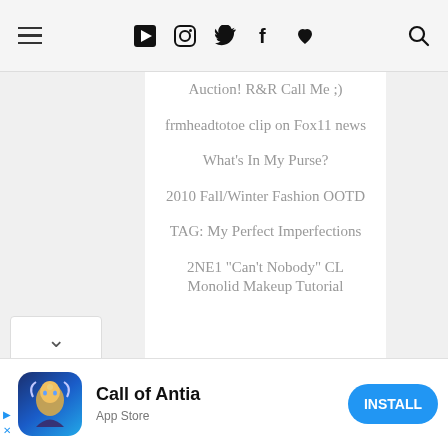≡ ▶ 📷 🐦 f ♥ 🔍
Auction! R&R Call Me ;)
frmheadtotoe clip on Fox11 news
What's In My Purse?
2010 Fall/Winter Fashion OOTD
TAG: My Perfect Imperfections
2NE1 "Can't Nobody" CL Monolid Makeup Tutorial
[Figure (screenshot): Advertisement banner for 'Call of Antia' app with game character image, App Store label, and blue INSTALL button]